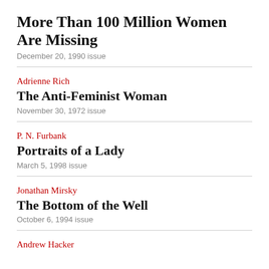More Than 100 Million Women Are Missing
December 20, 1990 issue
Adrienne Rich
The Anti-Feminist Woman
November 30, 1972 issue
P. N. Furbank
Portraits of a Lady
March 5, 1998 issue
Jonathan Mirsky
The Bottom of the Well
October 6, 1994 issue
Andrew Hacker